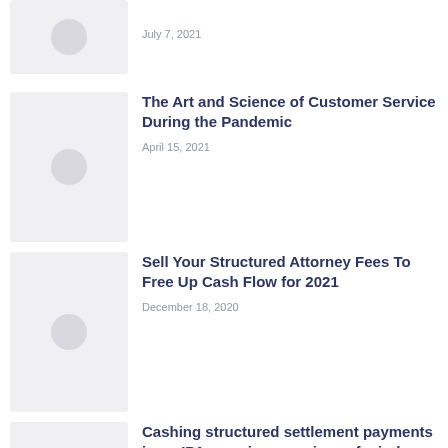[Figure (illustration): Thumbnail placeholder image with circle icon, partial article, date: July 7, 2021]
July 7, 2021
[Figure (illustration): Thumbnail placeholder image with circle icon]
The Art and Science of Customer Service During the Pandemic
April 15, 2021
[Figure (illustration): Thumbnail placeholder image with circle icon]
Sell Your Structured Attorney Fees To Free Up Cash Flow for 2021
December 18, 2020
[Figure (illustration): Thumbnail placeholder image with circle icon]
Cashing structured settlement payments in an IPA can give you piece of mind
January 4, 2019